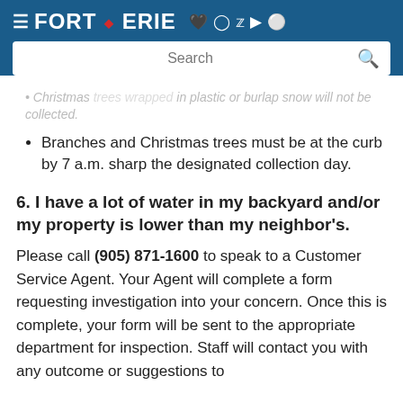Fort Erie — Navigation bar with social icons (Facebook, Instagram, Twitter, YouTube, WordPress)
[Figure (screenshot): Fort Erie municipal website navigation bar with logo and social media icons, and a search bar below]
Christmas trees wrapped in plastic or burlap snow will not be collected.
Branches and Christmas trees must be at the curb by 7 a.m. sharp the designated collection day.
6. I have a lot of water in my backyard and/or my property is lower than my neighbor's.
Please call (905) 871-1600 to speak to a Customer Service Agent. Your Agent will complete a form requesting investigation into your concern. Once this is complete, your form will be sent to the appropriate department for inspection. Staff will contact you with any outcome or suggestions to